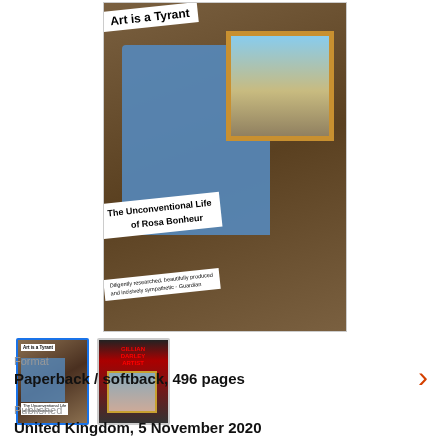[Figure (photo): Book cover of 'Art is a Tyrant: The Unconventional Life of Rosa Bonheur'. Shows an elderly woman in a blue robe seated beside a large framed painting of lions on a savanna. White diagonal banners display the title and subtitle. A review quote reads: 'Diligently researched, beautifully produced and incisively sympathetic - Guardian']
[Figure (photo): Thumbnail gallery showing two versions of the book cover. The first (selected with blue border) shows the same front cover as above. The second thumbnail shows a different/back cover version with red text on dark background.]
Format
Paperback / softback, 496 pages
Published
United Kingdom, 5 November 2020